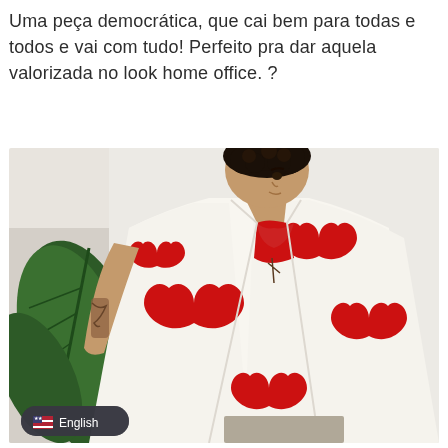Uma peça democrática, que cai bem para todas e todos e vai com tudo! Perfeito pra dar aquela valorizada no look home office. ?
[Figure (photo): Person wearing a white kimono-style robe with large red heart prints, open to reveal a red bralette. They have short curly dark hair and visible tattoos. Standing against a light wall with a large tropical leaf plant visible on the left. A language selector badge showing 'English' with a US flag icon is overlaid at the bottom left of the photo.]